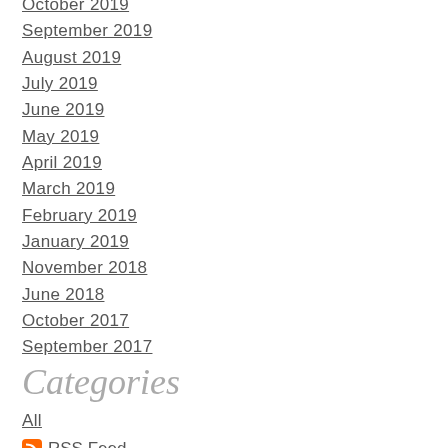October 2019
September 2019
August 2019
July 2019
June 2019
May 2019
April 2019
March 2019
February 2019
January 2019
November 2018
June 2018
October 2017
September 2017
Categories
All
RSS Feed